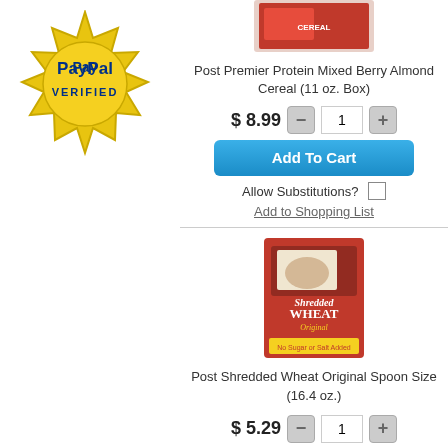[Figure (logo): PayPal Verified gold seal badge]
[Figure (photo): Post Premier Protein Mixed Berry Almond Cereal box product image]
Post Premier Protein Mixed Berry Almond Cereal (11 oz. Box)
$ 8.99   1   Add To Cart
Allow Substitutions?
Add to Shopping List
[Figure (photo): Post Shredded Wheat Original Spoon Size cereal box product image]
Post Shredded Wheat Original Spoon Size (16.4 oz.)
$ 5.29   1   Add To Cart